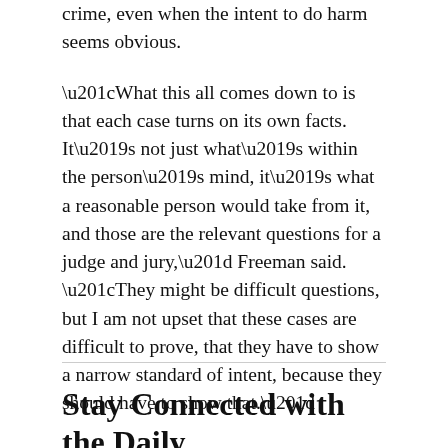crime, even when the intent to do harm seems obvious.
“What this all comes down to is that each case turns on its own facts. It’s not just what’s within the person’s mind, it’s what a reasonable person would take from it, and those are the relevant questions for a judge and jury,” Freeman said. “They might be difficult questions, but I am not upset that these cases are difficult to prove, that they have to show a narrow standard of intent, because they should have to show that.”
Stay Connected with the Daily